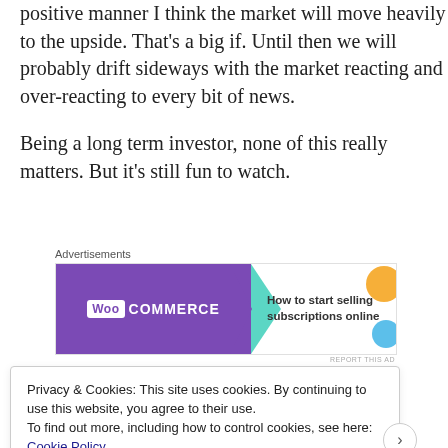positive manner I think the market will move heavily to the upside. That's a big if. Until then we will probably drift sideways with the market reacting and over-reacting to every bit of news.
Being a long term investor, none of this really matters. But it's still fun to watch.
[Figure (other): WooCommerce advertisement banner: 'How to start selling subscriptions online']
Privacy & Cookies: This site uses cookies. By continuing to use this website, you agree to their use. To find out more, including how to control cookies, see here: Cookie Policy
Close and accept